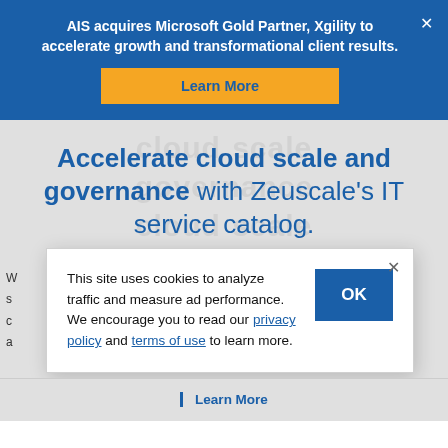AIS acquires Microsoft Gold Partner, Xgility to accelerate growth and transformational client results.
Learn More
Accelerate cloud scale and governance with Zeuscale's IT service catalog.
This site uses cookies to analyze traffic and measure ad performance. We encourage you to read our privacy policy and terms of use to learn more.
Learn More